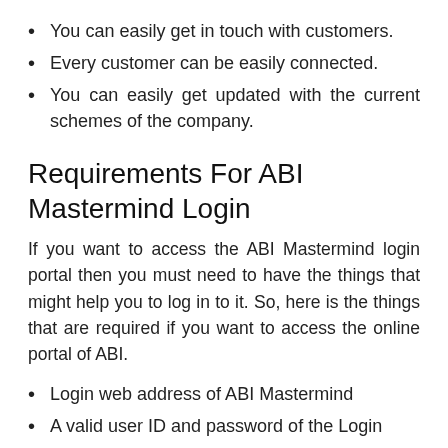You can easily get in touch with customers.
Every customer can be easily connected.
You can easily get updated with the current schemes of the company.
Requirements For ABI Mastermind Login
If you want to access the ABI Mastermind login portal then you must need to have the things that might help you to log in to it. So, here is the things that are required if you want to access the online portal of ABI.
Login web address of ABI Mastermind
A valid user ID and password of the Login